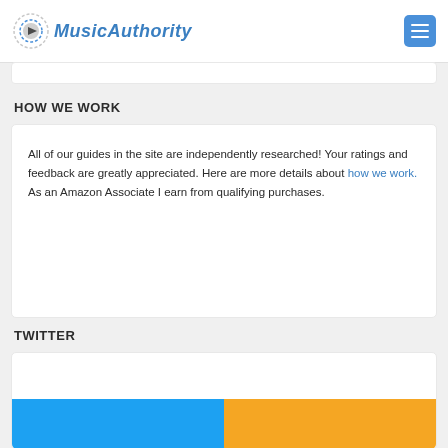MusicAuthority
HOW WE WORK
All of our guides in the site are independently researched! Your ratings and feedback are greatly appreciated. Here are more details about how we work.
As an Amazon Associate I earn from qualifying purchases.
TWITTER
[Figure (other): Twitter banner with blue and orange sections]